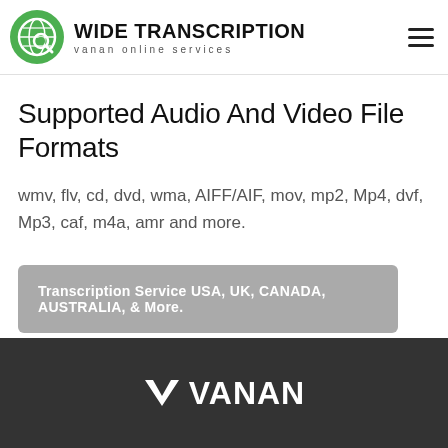[Figure (logo): Wide Transcription logo with green globe/magnifier icon and brand name]
Supported Audio And Video File Formats
wmv, flv, cd, dvd, wma, AIFF/AIF, mov, mp2, Mp4, dvf, Mp3, caf, m4a, amr and more.
Transcription Service USA, UK, CANADA, AUSTRALIA, & More.
[Figure (logo): Vanan logo with white V checkmark icon and VANAN text on dark background]